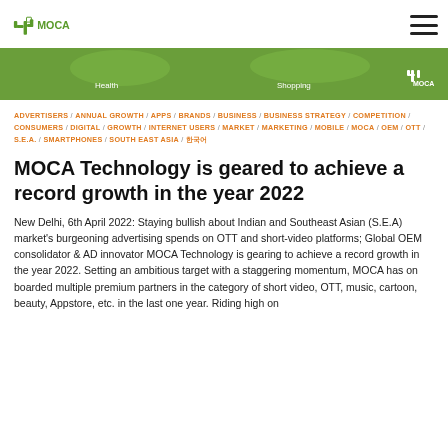[Figure (logo): MOCA Technology logo with cactus icon and text MOCA in green]
[Figure (photo): Green banner image showing categories Health and Shopping with MOCA logo]
ADVERTISERS / ANNUAL GROWTH / APPS / BRANDS / BUSINESS / BUSINESS STRATEGY / COMPETITION / CONSUMERS / DIGITAL / GROWTH / INTERNET USERS / MARKET / MARKETING / MOBILE / MOCA / OEM / OTT / S.E.A. / SMARTPHONES / SOUTH EAST ASIA / 한국어
MOCA Technology is geared to achieve a record growth in the year 2022
New Delhi, 6th April 2022: Staying bullish about Indian and Southeast Asian (S.E.A) market's burgeoning advertising spends on OTT and short-video platforms; Global OEM consolidator & AD innovator MOCA Technology is gearing to achieve a record growth in the year 2022. Setting an ambitious target with a staggering momentum, MOCA has on boarded multiple premium partners in the category of short video, OTT, music, cartoon, beauty, Appstore, etc. in the last one year. Riding high on